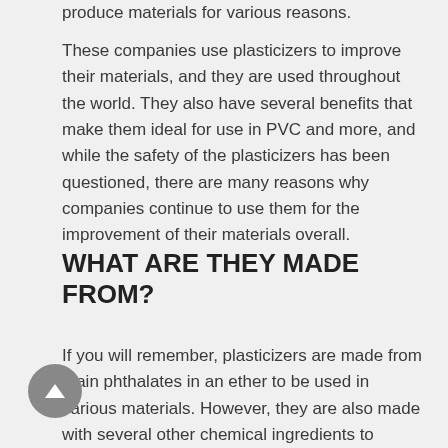produce materials for various reasons.
These companies use plasticizers to improve their materials, and they are used throughout the world. They also have several benefits that make them ideal for use in PVC and more, and while the safety of the plasticizers has been questioned, there are many reasons why companies continue to use them for the improvement of their materials overall.
WHAT ARE THEY MADE FROM?
If you will remember, plasticizers are made from main phthalates in an ether to be used in various materials. However, they are also made with several other chemical ingredients to provide them with their elastic and flexible methods. Some of the other ingredients